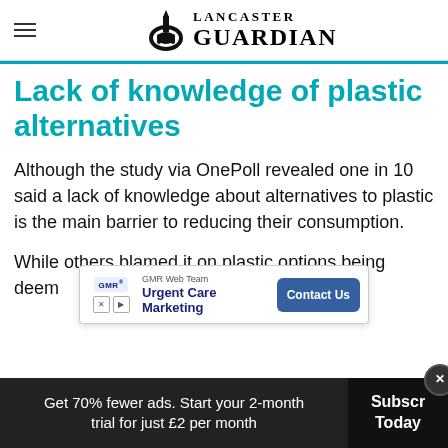Lancaster Guardian
Lack of knowledge of plastic alternatives
Although the study via OnePoll revealed one in 10 said a lack of knowledge about alternatives to plastic is the main barrier to reducing their consumption.
While others blamed it on plastic options being deemed...
[Figure (screenshot): GMR Web Team advertisement banner: 'Urgent Care Marketing' with a 'Contact Us' button]
Get 70% fewer ads. Start your 2-month trial for just £2 per month  Subscribe Today